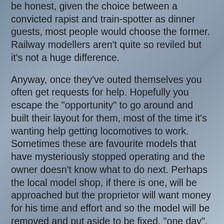be honest, given the choice between a convicted rapist and train-spotter as dinner guests, most people would choose the former. Railway modellers aren't quite so reviled but it's not a huge difference.
Anyway, once they've outed themselves you often get requests for help. Hopefully you escape the "opportunity" to go around and built their layout for them, most of the time it's wanting help getting locomotives to work. Sometimes these are favourite models that have mysteriously stopped operating and the owner doesn't know what to do next. Perhaps the local model shop, if there is one, will be approached but the proprietor will want money for his time and effort and so the model will be removed and put aside to be fixed, "one day".
This probably sounds really ungrateful. After all we should all be happy to help out our fellow man and I like to think I do my share of this. If you genuinely can't fix it and can't afford to get it fixed then I'm there. I won't take the work away from the local shop though as he needs to make money to stay